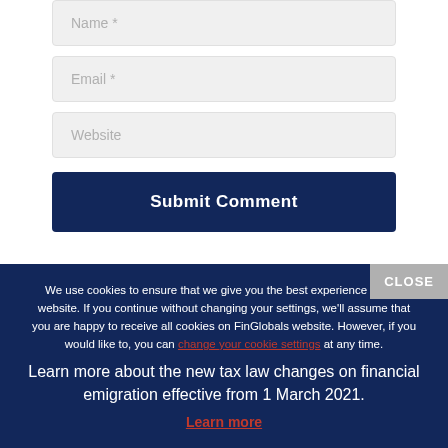Name *
Email *
Website
Submit Comment
We use cookies to ensure that we give you the best experience on our website. If you continue without changing your settings, we'll assume that you are happy to receive all cookies on FinGlobals website. However, if you would like to, you can change your cookie settings at any time.
Learn more about the new tax law changes on financial emigration effective from 1 March 2021.
Learn more